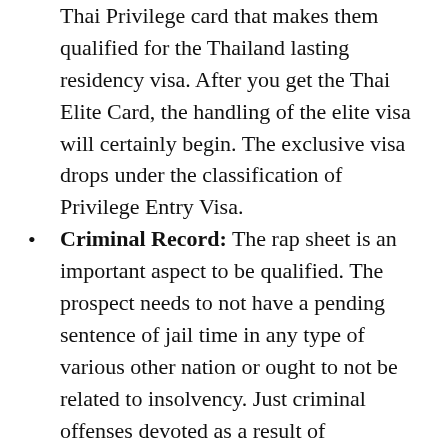Thai Privilege card that makes them qualified for the Thailand lasting residency visa. After you get the Thai Elite Card, the handling of the elite visa will certainly begin. The exclusive visa drops under the classification of Privilege Entry Visa.
Criminal Record: The rap sheet is an important aspect to be qualified. The prospect needs to not have a pending sentence of jail time in any type of various other nation or ought to not be related to insolvency. Just criminal offenses devoted as a result of carelessness will certainly be enabled as worried for the document.